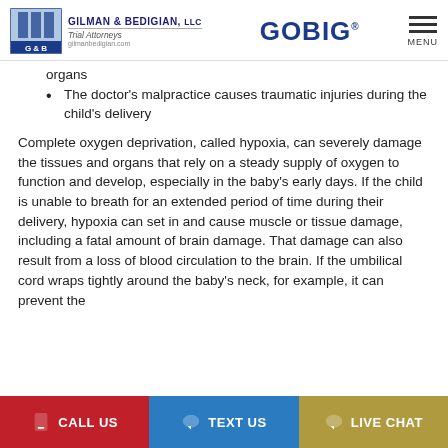GILMAN & BEDIGIAN, LLC Trial Attorneys | GOBIG | MENU
organs
The doctor's malpractice causes traumatic injuries during the child's delivery
Complete oxygen deprivation, called hypoxia, can severely damage the tissues and organs that rely on a steady supply of oxygen to function and develop, especially in the baby's early days. If the child is unable to breath for an extended period of time during their delivery, hypoxia can set in and cause muscle or tissue damage, including a fatal amount of brain damage. That damage can also result from a loss of blood circulation to the brain. If the umbilical cord wraps tightly around the baby's neck, for example, it can prevent the
CALL US | TEXT US | LIVE CHAT